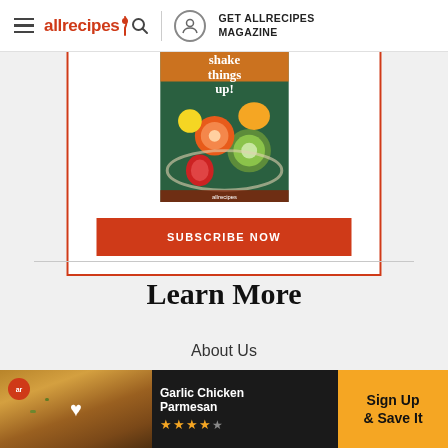allrecipes | GET ALLRECIPES MAGAZINE
[Figure (illustration): Magazine cover showing fruit salad with text 'shake things up']
SUBSCRIBE NOW
Learn More
About Us
Contact Us
[Figure (infographic): Bottom ad banner: Garlic Chicken Parmesan recipe card with heart icon, star rating, and 'Sign Up & Save It' CTA button]